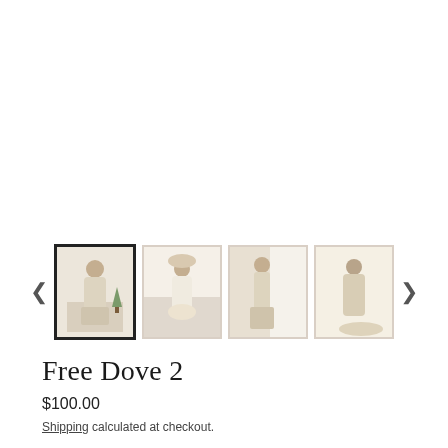[Figure (screenshot): Product image gallery showing four thumbnail photos of a model wearing a boho-style lace/cream dress. The first thumbnail is selected (black border). Navigation arrows on left and right.]
Free Dove 2
$100.00
Shipping calculated at checkout.